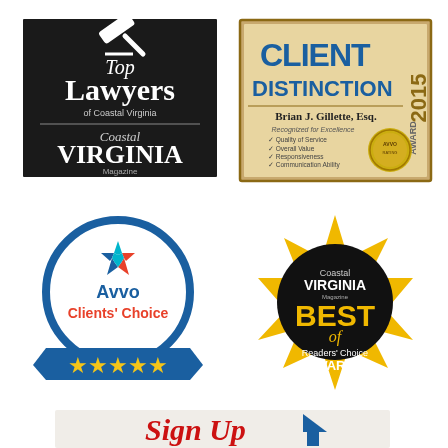[Figure (logo): Top Lawyers of Coastal Virginia Magazine logo — black and white badge with gavel icon, text 'Top Lawyers of Coastal Virginia' and 'Coastal VIRGINIA Magazine']
[Figure (logo): Client Distinction Award 2015 certificate for Brian J. Gillette, Esq. — recognized for excellence in Quality of Service, Overall Value, Responsiveness, Communication Ability, gold seal on right]
[Figure (logo): Avvo Clients' Choice badge — blue circle with colorful star, text 'Avvo Clients' Choice', blue banner with five gold stars]
[Figure (logo): Coastal Virginia Magazine Best of Readers' Choice Awards badge — black circle on gold star shape, white and yellow text]
[Figure (logo): Sign Up banner — partial red italic text 'Sign Up' with blue triangle/house icon, light background]